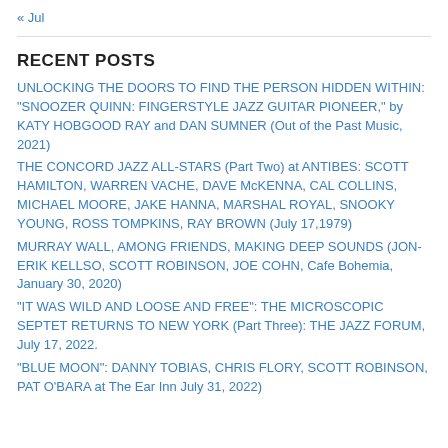« Jul
RECENT POSTS
UNLOCKING THE DOORS TO FIND THE PERSON HIDDEN WITHIN: “SNOOZER QUINN: FINGERSTYLE JAZZ GUITAR PIONEER,” by KATY HOBGOOD RAY and DAN SUMNER (Out of the Past Music, 2021)
THE CONCORD JAZZ ALL-STARS (Part Two) at ANTIBES: SCOTT HAMILTON, WARREN VACHE, DAVE McKENNA, CAL COLLINS, MICHAEL MOORE, JAKE HANNA, MARSHAL ROYAL, SNOOKY YOUNG, ROSS TOMPKINS, RAY BROWN (July 17,1979)
MURRAY WALL, AMONG FRIENDS, MAKING DEEP SOUNDS (JON-ERIK KELLSO, SCOTT ROBINSON, JOE COHN, Cafe Bohemia, January 30, 2020)
“IT WAS WILD AND LOOSE AND FREE”: THE MICROSCOPIC SEPTET RETURNS TO NEW YORK (Part Three): THE JAZZ FORUM, July 17, 2022.
“BLUE MOON”: DANNY TOBIAS, CHRIS FLORY, SCOTT ROBINSON, PAT O’BARA at The Ear Inn July 31, 2022)